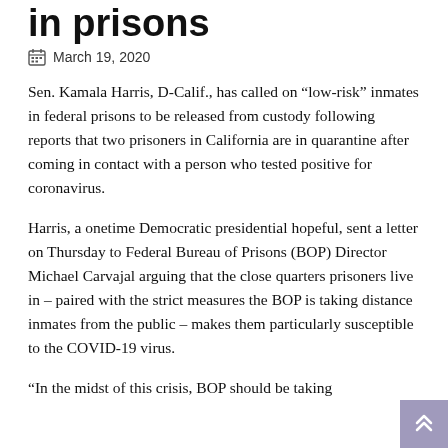in prisons
March 19, 2020
Sen. Kamala Harris, D-Calif., has called on “low-risk” inmates in federal prisons to be released from custody following reports that two prisoners in California are in quarantine after coming in contact with a person who tested positive for coronavirus.
Harris, a onetime Democratic presidential hopeful, sent a letter on Thursday to Federal Bureau of Prisons (BOP) Director Michael Carvajal arguing that the close quarters prisoners live in – paired with the strict measures the BOP is taking distance inmates from the public – makes them particularly susceptible to the COVID-19 virus.
“In the midst of this crisis, BOP should be taking